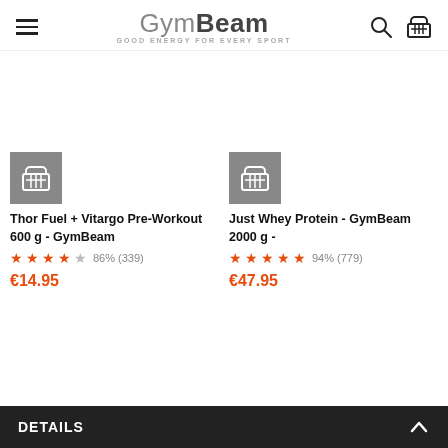GymBeam - GOOD ENERGY FOR EVERY SPORT
[Figure (screenshot): Product listing showing two items: Thor Fuel + Vitargo Pre-Workout 600g - GymBeam at €14.95 rated 86% (339 reviews) and Just Whey Protein - GymBeam 2000g at €47.95 rated 94% (779 reviews)]
Thor Fuel + Vitargo Pre-Workout 600 g - GymBeam
★★★★☆ 86% (339)
€14.95
Just Whey Protein - GymBeam 2000 g -
★★★★★ 94% (779)
€47.95
DETAILS